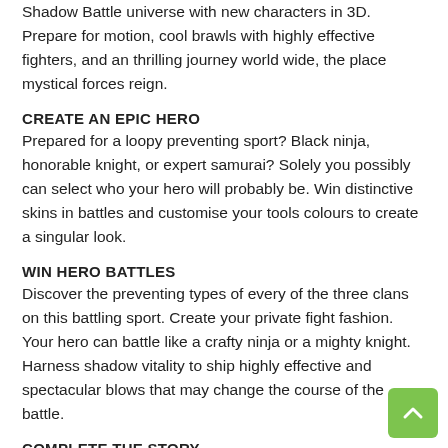Shadow Battle universe with new characters in 3D. Prepare for motion, cool brawls with highly effective fighters, and an thrilling journey world wide, the place mystical forces reign.
CREATE AN EPIC HERO
Prepared for a loopy preventing sport? Black ninja, honorable knight, or expert samurai? Solely you possibly can select who your hero will probably be. Win distinctive skins in battles and customise your tools colours to create a singular look.
WIN HERO BATTLES
Discover the preventing types of every of the three clans on this battling sport. Create your private fight fashion. Your hero can battle like a crafty ninja or a mighty knight. Harness shadow vitality to ship highly effective and spectacular blows that may change the course of the battle.
COMPLETE THE STORY
Warriors world wide await the looks of a hero who will battle for justice and finish the wrestle for the ability of the shadows. Affect the storyline by selecting your clan. Defeat highly effective bosses to